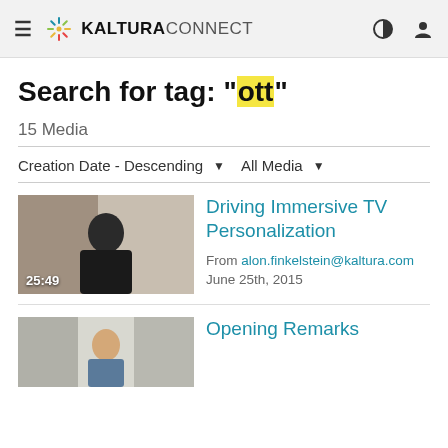Kaltura Connect
Search for tag: "ott"
15 Media
Creation Date - Descending   All Media
[Figure (screenshot): Video thumbnail showing a man in a black shirt with duration 25:49]
Driving Immersive TV Personalization
From alon.finkelstein@kaltura.com June 25th, 2015
[Figure (screenshot): Video thumbnail showing a man in a suit, partially visible]
Opening Remarks